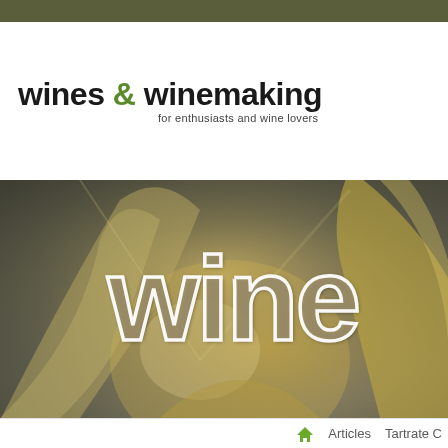[Figure (logo): Wines & Winemaking logo with tagline 'for enthusiasts and wine lovers']
[Figure (photo): Hero image of a wine glass with overlaid large text 'wine' in golden/taupe style with white outline strokes]
Articles   Tartrate C